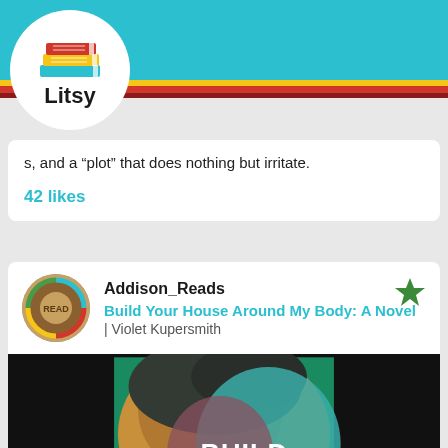[Figure (screenshot): Litsy app navigation bar with teal background, home icon, search icon, plus icon, lightning bolt icon, and profile icon]
s, and a “plot” that does nothing but irritate.
42 likes
Addison_Reads
Build Your House Around My Body: A Novel
| Violet Kupersmith
[Figure (photo): Book cover of 'Build Your House Around My Body' showing a silhouette of a head with colorful surreal imagery inside — green background with text BUILD YOUR HOUSE]